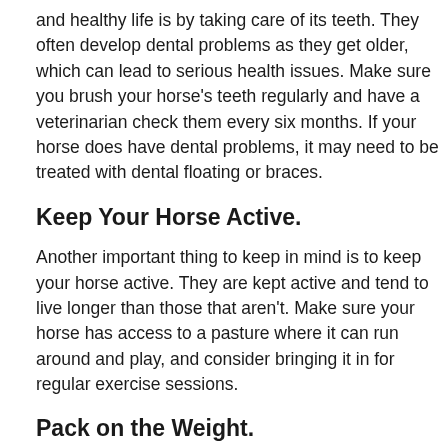and healthy life is by taking care of its teeth. They often develop dental problems as they get older, which can lead to serious health issues. Make sure you brush your horse's teeth regularly and have a veterinarian check them every six months. If your horse does have dental problems, it may need to be treated with dental floating or braces.
Keep Your Horse Active.
Another important thing to keep in mind is to keep your horse active. They are kept active and tend to live longer than those that aren't. Make sure your horse has access to a pasture where it can run around and play, and consider bringing it in for regular exercise sessions.
Pack on the Weight.
Horses that are underweight are also more prone to health problems. If your horse is too thin, talk to your veterinarian about ways you can help it gain weight. This may include